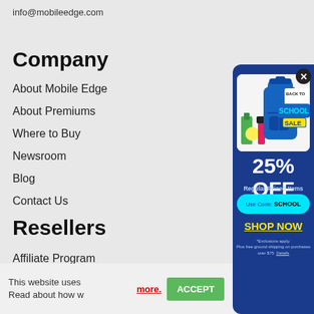info@mobileedge.com
Company
About Mobile Edge
About Premiums
Where to Buy
Newsroom
Blog
Contact Us
Resellers
Affiliate Program
[Figure (infographic): Back to School Sale popup overlay showing a blue backpack with school supplies, '25% OFF Regular-Priced Items', 'Use Code: SCHOOL', 'SHOP NOW' button, and exclusions note.]
This website uses Read about how w
more.
ACCEPT